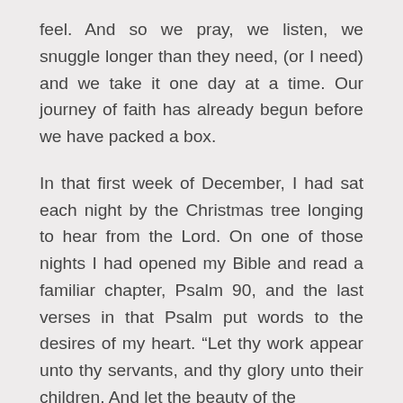feel. And so we pray, we listen, we snuggle longer than they need, (or I need) and we take it one day at a time. Our journey of faith has already begun before we have packed a box.
In that first week of December, I had sat each night by the Christmas tree longing to hear from the Lord. On one of those nights I had opened my Bible and read a familiar chapter, Psalm 90, and the last verses in that Psalm put words to the desires of my heart. “Let thy work appear unto thy servants, and thy glory unto their children. And let the beauty of the